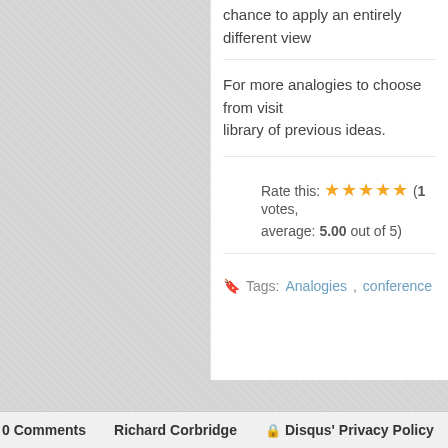chance to apply an entirely different view
For more analogies to choose from visit library of previous ideas.
Rate this: ★★★★★ (1 votes, average: 5.00 out of 5)
Tags: Analogies, conference, Ibiza, Inf…
Previous Post
0 Comments   Richard Corbridge   Disqus' Privacy Policy